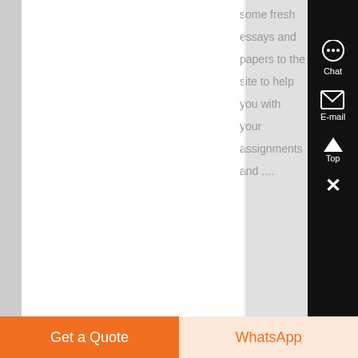some fresh essays and papers to the site to help you with your assignments and ....
Know More
[Figure (screenshot): Chat and E-mail support icons on dark sidebar]
[Figure (photo): Photo of items on a table including bottles and containers]
Contact Us | Mile-X Equipment, Inc
Get a Quote
WhatsApp